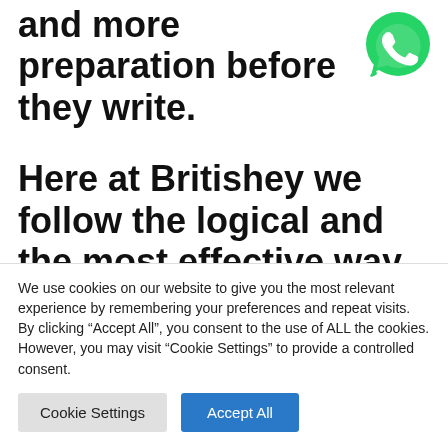and more preparation before they write.
[Figure (logo): WhatsApp green logo icon]
Here at Britishey we follow the logical and the most effective way of teaching writing, even with kids.
Our topic for this session was “Film Review”. At the end of the session
We use cookies on our website to give you the most relevant experience by remembering your preferences and repeat visits. By clicking “Accept All”, you consent to the use of ALL the cookies. However, you may visit “Cookie Settings” to provide a controlled consent.